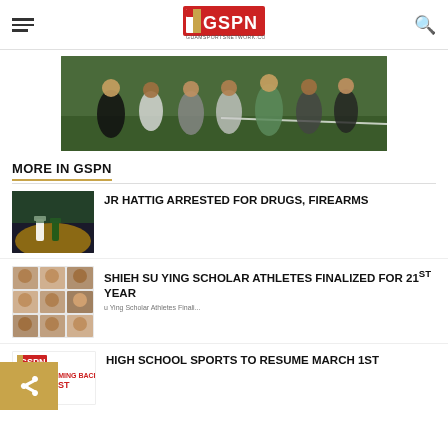GSPN - GuamSportsNetwork.com
[Figure (photo): Group of athletes posing on a grass field, crouching and standing, outdoor night or evening photo]
MORE IN GSPN
[Figure (photo): Baseball players on a dirt infield]
JR HATTIG ARRESTED FOR DRUGS, FIREARMS
[Figure (photo): Grid of scholar athlete headshot photos]
SHIEH SU YING SCHOLAR ATHLETES FINALIZED FOR 21st YEAR
[Figure (logo): GSPN logo with text SPORTS COMING BACK MARCH 1ST]
HIGH SCHOOL SPORTS TO RESUME MARCH 1ST